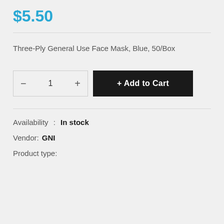$5.50
Three-Ply General Use Face Mask, Blue, 50/Box
+ Add to Cart
Availability : In stock
Vendor:  GNI
Product type: